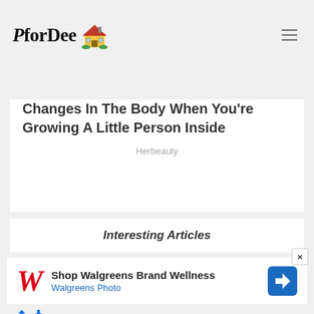PforDee
Changes In The Body When You're Growing A Little Person Inside
Herbeauty
Interesting Articles
[Figure (other): Walgreens advertisement: Shop Walgreens Brand Wellness, Walgreens Photo, with Walgreens W logo and direction sign icon]